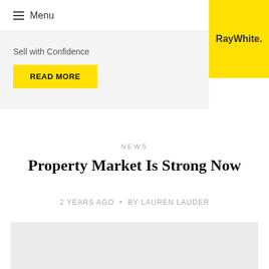Menu
[Figure (logo): RayWhite. logo in bold on yellow background]
Sell with Confidence
READ MORE
NEWS
Property Market Is Strong Now
2 YEARS AGO • BY LAUREN LAUDER
[Figure (photo): Gray image placeholder at bottom of page]